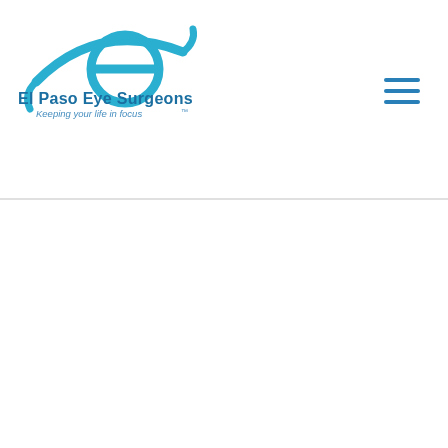[Figure (logo): El Paso Eye Surgeons logo with stylized blue eye/letter e graphic, company name 'El Paso Eye Surgeons' in bold blue, tagline 'Keeping your life in focus™' in italic blue]
[Figure (other): Hamburger menu icon with three horizontal blue lines in the top right corner]